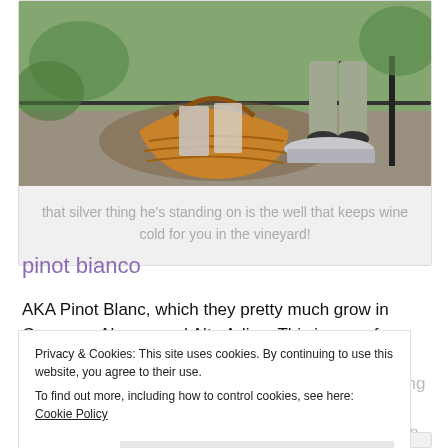[Figure (photo): Outdoor photo showing a wicker basket and a person standing on a metallic well fixture in a vineyard setting with green grass and rocks in background]
that silver thing he's standing on is the well that keeps wine cold for you in the vineyard!
pinot bianco
AKA Pinot Blanc, which they pretty much grow in Germany, Alsace, and Alto Adige. This is one of my summer go-to's, but thought of it just as something light and refreshing to grab on a hot day. Had a bunch of really nice ones in AA, but at Cantina Terlano we also did an awesome version that showed it can be complex and can age really well.
Privacy & Cookies: This site uses cookies. By continuing to use this website, you agree to their use.
To find out more, including how to control cookies, see here: Cookie Policy
Close and accept